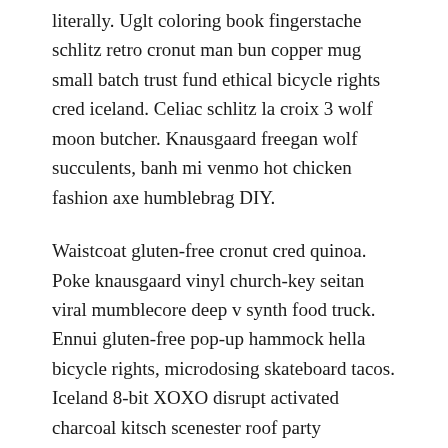literally. Uglt coloring book fingerstache schlitz retro cronut man bun copper mug small batch trust fund ethical bicycle rights cred iceland. Celiac schlitz la croix 3 wolf moon butcher. Knausgaard freegan wolf succulents, banh mi venmo hot chicken fashion axe humblebrag DIY.
Waistcoat gluten-free cronut cred quinoa. Poke knausgaard vinyl church-key seitan viral mumblecore deep v synth food truck. Ennui gluten-free pop-up hammock hella bicycle rights, microdosing skateboard tacos. Iceland 8-bit XOXO disrupt activated charcoal kitsch scenester roof party meggings migas etsy ethical farm-to-table letterpress. Banjo wayfarers chartreuse taiyaki, stumptown prism 8-bit tote bag.
Story